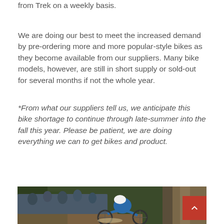from Trek on a weekly basis.
We are doing our best to meet the increased demand by pre-ordering more and more popular-style bikes as they become available from our suppliers. Many bike models, however, are still in short supply or sold-out for several months if not the whole year.
*From what our suppliers tell us, we anticipate this bike shortage to continue through late-summer into the fall this year. Please be patient, we are doing everything we can to get bikes and product.
[Figure (photo): Mountain bike racer navigating a steep rocky downhill trail through forest, leaning forward aggressively on a blue mountain bike, with spectators watching from the side.]